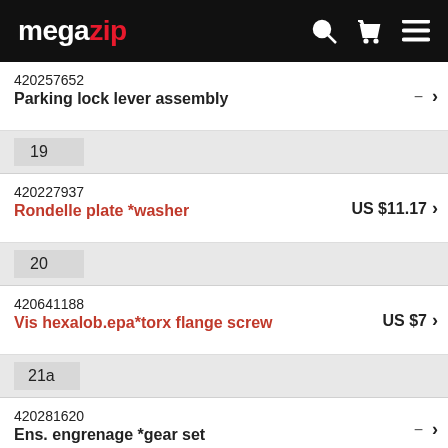megazip
420257652 Parking lock lever assembly
19
420227937 Rondelle plate *washer US $11.17
20
420641188 Vis hexalob.epa*torx flange screw US $7
21a
420281620 Ens. engrenage *gear set Includes 21a to 32;
21c